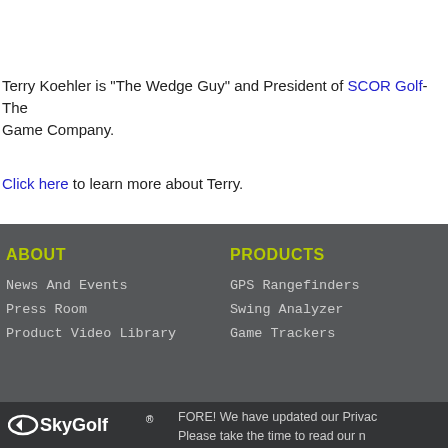Terry Koehler is "The Wedge Guy" and President of SCOR Golf- The Game Company.
Click here to learn more about Terry.
ABOUT
News And Events
Press Room
Product Video Library
PRODUCTS
GPS Rangefinders
Swing Analyzer
Game Trackers
[Figure (logo): SkyGolf logo with oval icon and text]
FORE! We have updated our Privacy Please take the time to read our n